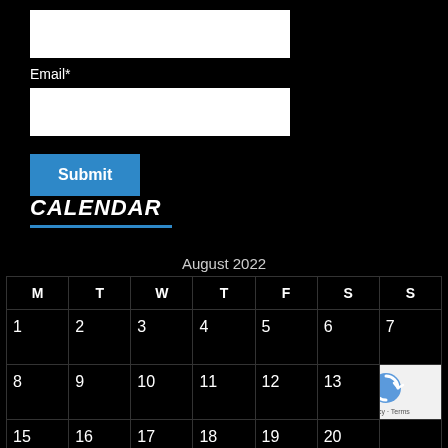[Figure (screenshot): White input box (text field) at top of form]
Email*
[Figure (screenshot): White input box (email field)]
Submit
CALENDAR
August 2022
| M | T | W | T | F | S | S |
| --- | --- | --- | --- | --- | --- | --- |
| 1 | 2 | 3 | 4 | 5 | 6 | 7 |
| 8 | 9 | 10 | 11 | 12 | 13 | 14 |
| 15 | 16 | 17 | 18 | 19 | 20 | 21 |
| 22 | 23 | 24 | 25 | 26 | 27 | 28 |